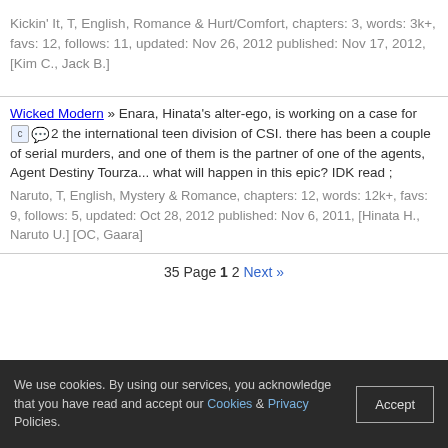Kickin' It, T, English, Romance & Hurt/Comfort, chapters: 3, words: 3k+, favs: 12, follows: 11, updated: Nov 26, 2012 published: Nov 17, 2012, [Kim C., Jack B.]
Wicked Modern » Enara, Hinata's alter-ego, is working on a case for the international teen division of CSI. there has been a couple of serial murders, and one of them is the partner of one of the agents, Agent Destiny Tourza... what will happen in this epic? IDK read ;
Naruto, T, English, Mystery & Romance, chapters: 12, words: 12k+, favs: 9, follows: 5, updated: Oct 28, 2012 published: Nov 6, 2011, [Hinata H., Naruto U.] [OC, Gaara]
35 Page 1 2 Next »
We use cookies. By using our services, you acknowledge that you have read and accept our Cookies & Privacy Policies.